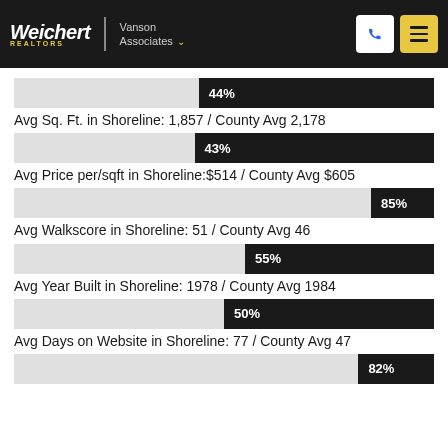Weichert Realtors Vanson Associates
[Figure (bar-chart): Avg Sq. Ft. percentage bar]
Avg Sq. Ft. in Shoreline: 1,857 / County Avg 2,178
[Figure (bar-chart): Avg Price per/sqft percentage bar]
Avg Price per/sqft in Shoreline:$514 / County Avg $605
[Figure (bar-chart): Avg Walkscore percentage bar]
Avg Walkscore in Shoreline: 51 / County Avg 46
[Figure (bar-chart): Avg Year Built percentage bar]
Avg Year Built in Shoreline: 1978 / County Avg 1984
[Figure (bar-chart): Avg Days on Website percentage bar]
Avg Days on Website in Shoreline: 77 / County Avg 47
[Figure (bar-chart): Last bar percentage]